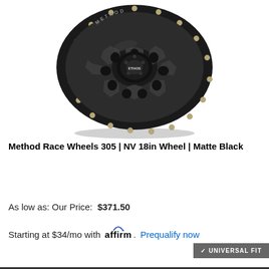[Figure (photo): Method Race Wheels 305 NV matte black 18-inch wheel, viewed at a slight angle showing the multi-spoke design with bead-ring bolts around the outer lip]
Method Race Wheels 305 | NV 18in Wheel | Matte Black
As low as: Our Price:  $371.50
Starting at $34/mo with affirm. Prequalify now